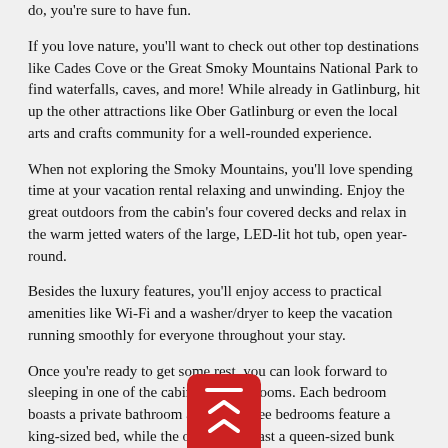do, you're sure to have fun.
If you love nature, you'll want to check out other top destinations like Cades Cove or the Great Smoky Mountains National Park to find waterfalls, caves, and more! While already in Gatlinburg, hit up the other attractions like Ober Gatlinburg or even the local arts and crafts community for a well-rounded experience.
When not exploring the Smoky Mountains, you'll love spending time at your vacation rental relaxing and unwinding. Enjoy the great outdoors from the cabin's four covered decks and relax in the warm jetted waters of the large, LED-lit hot tub, open year-round.
Besides the luxury features, you'll enjoy access to practical amenities like Wi-Fi and a washer/dryer to keep the vacation running smoothly for everyone throughout your stay.
Once you're ready to get some rest, you can look forward to sleeping in one of the cabin's five bedrooms. Each bedroom boasts a private bathroom and TV. Three bedrooms feature a king-sized bed, while the other two boast a queen-sized bunk bed.
With the additional sleeper sofas available, "A Perfect Stay" sleeps 20 guests comfortably, creating the perfect spot for your next family gathering.